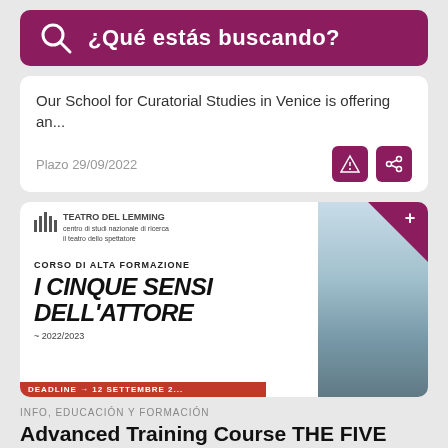¿Qué estás buscando?
Our School for Curatorial Studies in Venice is offering an...
Plazo 29/09/2022
[Figure (illustration): Poster for Teatro del Lemming course 'I Cinque Sensi Dell'Attore 2022/2023', with deadline 12 Settembre]
INFO, EDUCACIÓN Y FORMACIÓN
Advanced Training Course THE FIVE SENSES OF THE ACTOR